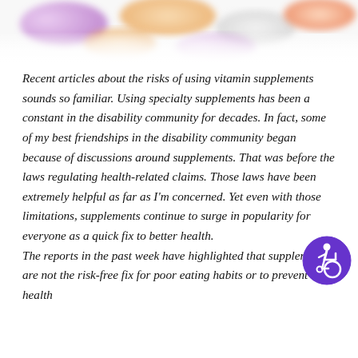[Figure (photo): Colorful vitamin supplement capsules/pills blurred at top of page]
Recent articles about the risks of using vitamin supplements sounds so familiar. Using specialty supplements has been a constant in the disability community for decades. In fact, some of my best friendships in the disability community began because of discussions around supplements. That was before the laws regulating health-related claims. Those laws have been extremely helpful as far as I'm concerned. Yet even with those limitations, supplements continue to surge in popularity for everyone as a quick fix to better health. The reports in the past week have highlighted that supplements are not the risk-free fix for poor eating habits or to prevent health
[Figure (illustration): Accessibility icon — white wheelchair user figure on purple circle background]